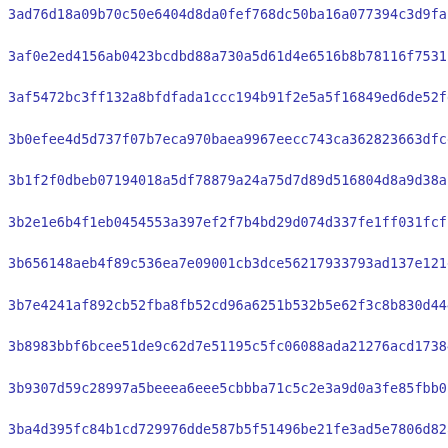3ad76d18a09b70c50e6404d8da0fef768dc50ba16a077394c3d9fac9bb22f
3af0e2ed4156ab0423bcdbd88a730a5d61d4e6516b8b78116f7531c98bf12
3af5472bc3ff132a8bfdfada1ccc194b91f2e5a5f16849ed6de52fdd788eb
3b0efee4d5d737f07b7eca970baea9967eecc743ca362823663dfce3b6d32
3b1f2f0dbeb07194018a5df78879a24a75d7d89d516804d8a9d38a2566b7d
3b2e1e6b4f1eb0454553a397ef2f7b4bd29d074d337fe1ff031fcf15d8da1
3b656148aeb4f89c536ea7e09001cb3dce56217933793ad137e121ea394c0
3b7e4241af892cb52fba8fb52cd96a6251b532b5e62f3c8b830d444608746
3b8983bbf6bcee51de9c62d7e51195c5fc06088ada21276acd173848dfe43
3b9307d59c28997a5beeea6eee5cbbba71c5c2e3a9d0a3fe85fbb0f4e0713
3ba4d395fc84b1cd729976dde587b5f51496be21fe3ad5e7806d82a9a458f